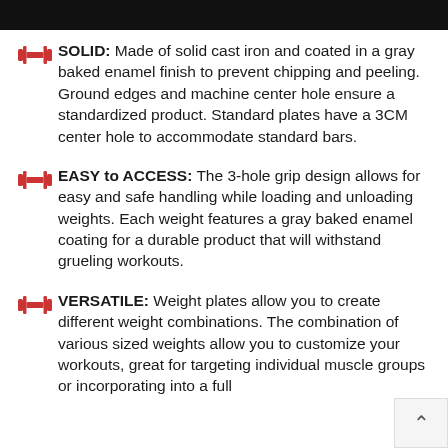SOLID: Made of solid cast iron and coated in a gray baked enamel finish to prevent chipping and peeling. Ground edges and machine center hole ensure a standardized product. Standard plates have a 3CM center hole to accommodate standard bars.
EASY to ACCESS: The 3-hole grip design allows for easy and safe handling while loading and unloading weights. Each weight features a gray baked enamel coating for a durable product that will withstand grueling workouts.
VERSATILE: Weight plates allow you to create different weight combinations. The combination of various sized weights allow you to customize your workouts, great for targeting individual muscle groups or incorporating into a full